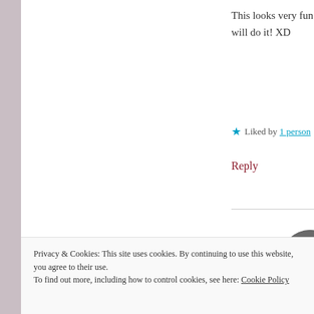This looks very fun! It is quite possible that I will do it! XD
★ Liked by 1 person
Reply
[Figure (photo): Circular avatar image showing a grayscale sunset over water with clouds]
mescalime
DECEMBER 27, 2015 AT
Privacy & Cookies: This site uses cookies. By continuing to use this website, you agree to their use. To find out more, including how to control cookies, see here: Cookie Policy
Close and accept